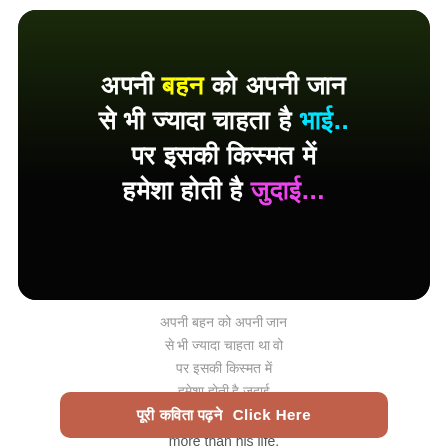[Figure (illustration): Dark background image with Hindi poetry text overlay in white, yellow, cyan, and magenta colors. Text reads: अपनी बहन को अपनी जान से भी ज्यादा चाहता है भाई.. पर इसकी किस्मत में हमेशा होती है जुदाई... www.poetrytadka.com]
अपनी बहन को अपनी जान से भी ज्यादा चाहता था वो इसकी किस्मत में हमेशा होती है जुदाई Brother loves his sister more than his life. But there is always separation in his fate.
पूरी कविता पढ़ने Click Here